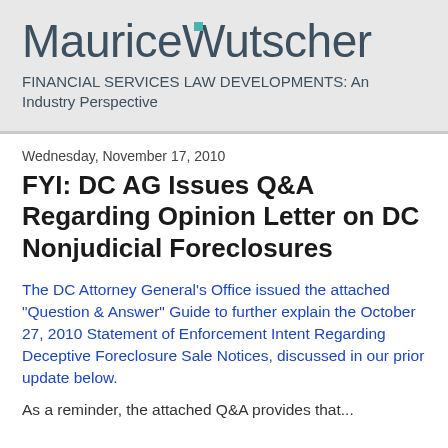[Figure (logo): MauriceWutscher law firm logo with teal square dot above the 'i' in Maurice]
FINANCIAL SERVICES LAW DEVELOPMENTS: An Industry Perspective
Wednesday, November 17, 2010
FYI: DC AG Issues Q&A Regarding Opinion Letter on DC Nonjudicial Foreclosures
The DC Attorney General's Office issued the attached "Question & Answer" Guide to further explain the October 27, 2010 Statement of Enforcement Intent Regarding Deceptive Foreclosure Sale Notices, discussed in our prior update below.
As a reminder, the attached Q&A provides that...